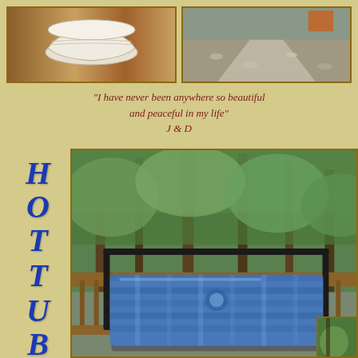[Figure (photo): Photo of a white/cream ceramic bowl or vase on a wooden surface]
[Figure (photo): Outdoor photo with gravel path and vegetation]
"I have never been anywhere so beautiful and peaceful in my life" J & D
[Figure (photo): Photo of a hot tub on a wooden deck surrounded by forest trees, with a blue plaid cover]
HOT TUB
[Figure (photo): Small corner photo of green foliage]